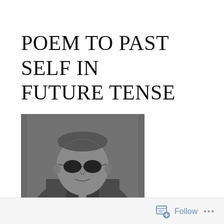POEM TO PAST SELF IN FUTURE TENSE
[Figure (photo): Black and white high-contrast photo of an older man wearing sunglasses and a jacket, with a textured, graphic novel-like appearance]
Follow ...